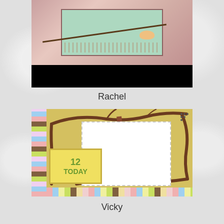[Figure (photo): Top portion of a handmade greeting card with pink/rose background, branch with bird, and decorative elements. Partially visible with black background.]
Rachel
[Figure (photo): Handmade birthday card with yellow/green background, brown tree branches decorating corners, a white panel with a girl swinging on a branch, a yellow badge reading '12 TODAY', and colorful checkered strips on the left and bottom edges.]
Vicky